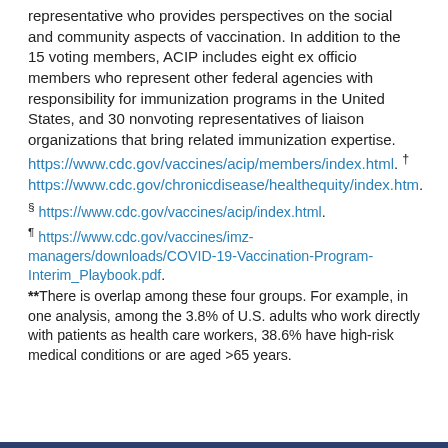representative who provides perspectives on the social and community aspects of vaccination. In addition to the 15 voting members, ACIP includes eight ex officio members who represent other federal agencies with responsibility for immunization programs in the United States, and 30 nonvoting representatives of liaison organizations that bring related immunization expertise. https://www.cdc.gov/vaccines/acip/members/index.html. † https://www.cdc.gov/chronicdisease/healthequity/index.htm.
§ https://www.cdc.gov/vaccines/acip/index.html.
¶ https://www.cdc.gov/vaccines/imz-managers/downloads/COVID-19-Vaccination-Program-Interim_Playbook.pdf.
**There is overlap among these four groups. For example, in one analysis, among the 3.8% of U.S. adults who work directly with patients as health care workers, 38.6% have high-risk medical conditions or are aged >65 years.